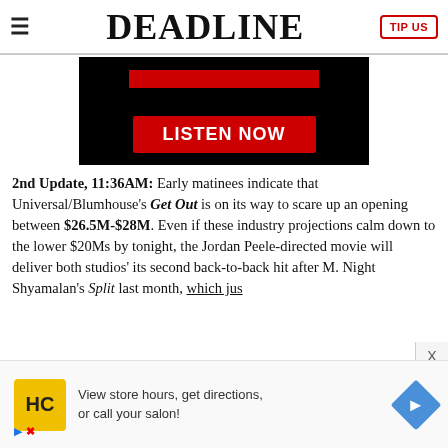DEADLINE
[Figure (screenshot): Black podcast promo banner with red bar at top and red LISTEN NOW button]
2nd Update, 11:36AM: Early matinees indicate that Universal/Blumhouse's Get Out is on its way to scare up an opening between $26.5M-$28M. Even if these industry projections calm down to the lower $20Ms by tonight, the Jordan Peele-directed movie will deliver both studios' its second back-to-back hit after M. Night Shyamalan's Split last month, which jus
[Figure (screenshot): HC salon advertisement banner with yellow HC logo, navigation arrow icon, and text: View store hours, get directions, or call your salon!]